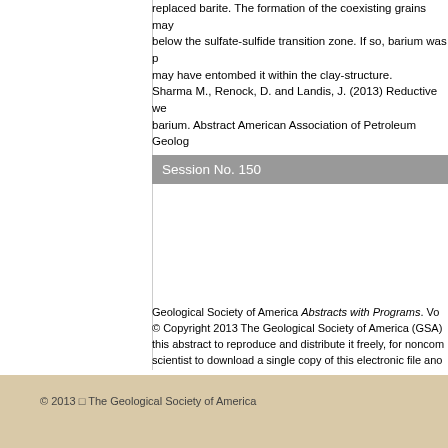replaced barite. The formation of the coexisting grains may below the sulfate-sulfide transition zone. If so, barium was may have entombed it within the clay-structure.
Sharma M., Renock, D. and Landis, J. (2013) Reductive we barium. Abstract American Association of Petroleum Geolog
Session No. 150
Geological Society of America Abstracts with Programs. Vo © Copyright 2013 The Geological Society of America (GSA) this abstract to reproduce and distribute it freely, for noncon scientist to download a single copy of this electronic file anc advancing science and education, including classroom use, including the author information. All other forms of reproduc GSA Copyright Permissions.
Back to: T158. Geochemistry of Flowback and Produ
<< Previous A
© 2013 □ The Geological Society of America